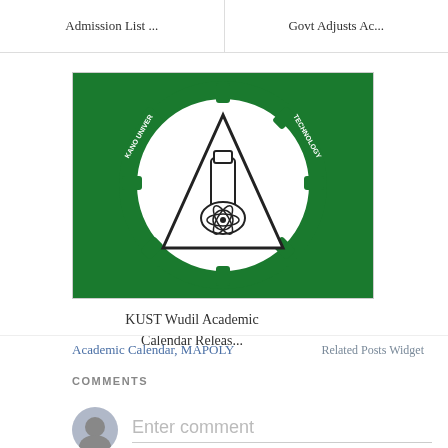Admission List ...
Govt Adjusts Ac...
[Figure (logo): KUST Wudil (Kano University of Science and Technology) circular logo with green gear border, white triangle with laboratory flask and atomic symbol inside]
KUST Wudil Academic Calendar Releas...
Academic Calendar, MAPOLY
Related Posts Widget
COMMENTS
Enter comment